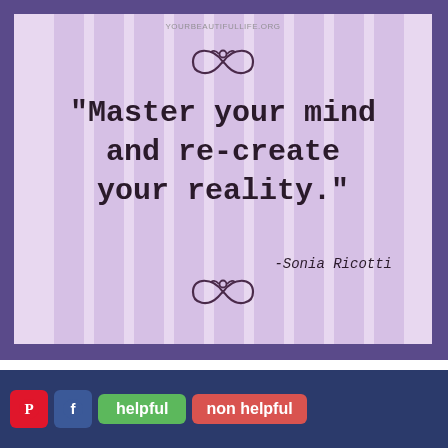[Figure (illustration): Motivational quote image with purple/lavender background with vertical stripes, decorative scroll ornaments top and bottom, watermark 'YOURBEAUTIFULLIFE.ORG' at top. Quote text in bold typewriter font: '"Master your mind and re-create your reality."' with attribution '-Sonia Ricotti' below.]
[Figure (infographic): Dark navy blue bottom bar with Pinterest (red P icon), Facebook (blue f icon), green 'helpful' button, and red 'non helpful' button.]